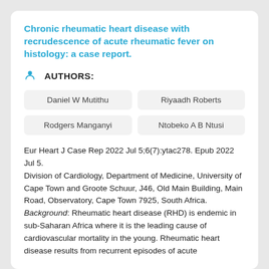Chronic rheumatic heart disease with recrudescence of acute rheumatic fever on histology: a case report.
AUTHORS:
Daniel W Mutithu
Riyaadh Roberts
Rodgers Manganyi
Ntobeko A B Ntusi
Eur Heart J Case Rep 2022 Jul 5;6(7):ytac278. Epub 2022 Jul 5.
Division of Cardiology, Department of Medicine, University of Cape Town and Groote Schuur, J46, Old Main Building, Main Road, Observatory, Cape Town 7925, South Africa.
Background: Rheumatic heart disease (RHD) is endemic in sub-Saharan Africa where it is the leading cause of cardiovascular mortality in the young. Rheumatic heart disease results from recurrent episodes of acute